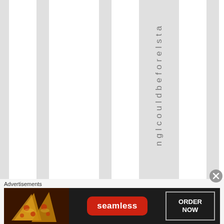[Figure (other): Website layout showing alternating white and gray vertical columns with vertical text reading 'nglcouldbeforelsta' in a gray column, and an advertisement at the bottom for Seamless food delivery with a pizza image, Seamless logo in red, and ORDER NOW button.]
Advertisements
[Figure (other): Seamless food delivery advertisement banner showing pizza slices on dark background, Seamless logo in red, and ORDER NOW button in outlined box.]